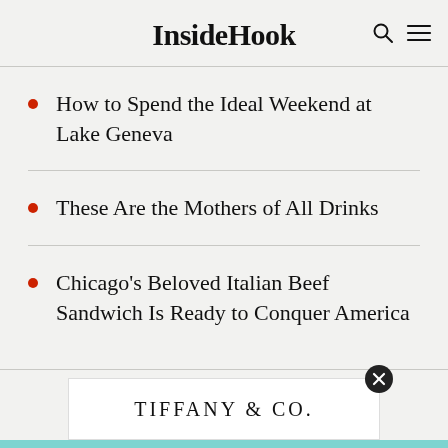InsideHook
How to Spend the Ideal Weekend at Lake Geneva
These Are the Mothers of All Drinks
Chicago's Beloved Italian Beef Sandwich Is Ready to Conquer America
[Figure (logo): Tiffany & Co. advertisement banner at bottom of page]